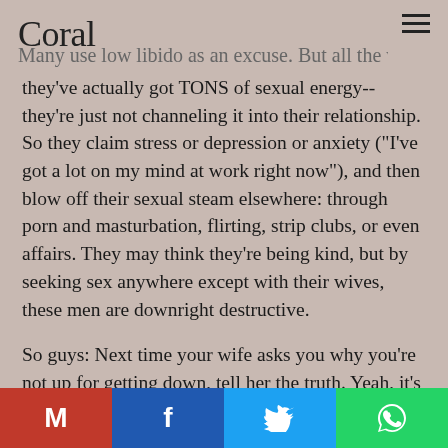Coral
Many use low libido as an excuse. But all the while they've actually got TONS of sexual energy--they're just not channeling it into their relationship. So they claim stress or depression or anxiety ("I've got a lot on my mind at work right now"), and then blow off their sexual steam elsewhere: through porn and masturbation, flirting, strip clubs, or even affairs. They may think they're being kind, but by seeking sex anywhere except with their wives, these men are downright destructive.

So guys: Next time your wife asks you why you're not up for getting down, tell her the truth. Yeah, it's probably going to be painful for both you. But the alternative--a relationship built on secrets, lies, and repressed emotions--is a lot worse. So man up and tell her what
Share buttons: Gmail, Facebook, Twitter, WhatsApp